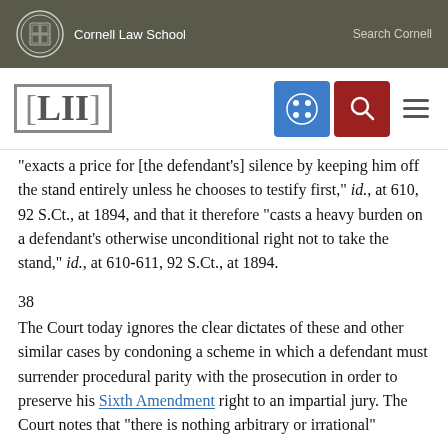Cornell Law School | Search Cornell
[Figure (logo): LII Legal Information Institute logo with navigation icons (grid icon in blue, search icon in red, hamburger menu)]
"exacts a price for [the defendant's] silence by keeping him off the stand entirely unless he chooses to testify first," id., at 610, 92 S.Ct., at 1894, and that it therefore "casts a heavy burden on a defendant's otherwise unconditional right not to take the stand," id., at 610-611, 92 S.Ct., at 1894.
38
The Court today ignores the clear dictates of these and other similar cases by condoning a scheme in which a defendant must surrender procedural parity with the prosecution in order to preserve his Sixth Amendment right to an impartial jury. The Court notes that "there is nothing arbitrary or irrational"